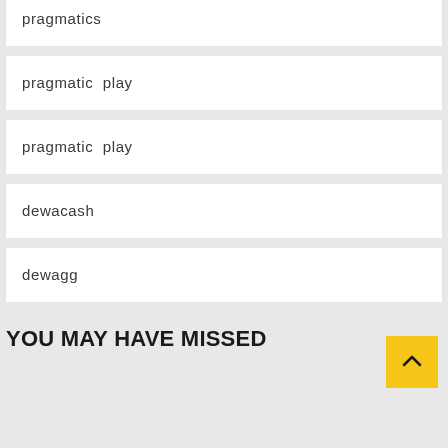pragmatics
pragmatic play
pragmatic play
dewacash
dewagg
YOU MAY HAVE MISSED